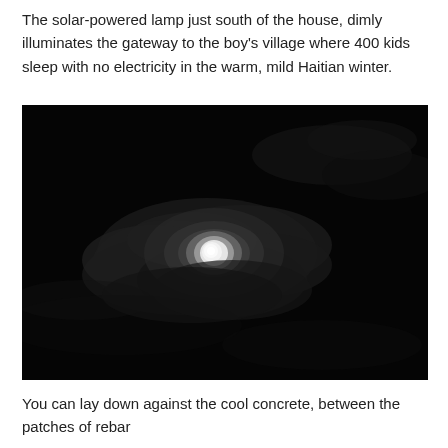The solar-powered lamp just south of the house, dimly illuminates the gateway to the boy's village where 400 kids sleep with no electricity in the warm, mild Haitian winter.
[Figure (photo): A night sky photograph showing a bright full moon partially obscured by clouds against a very dark background.]
You can lay down against the cool concrete, between the patches of rebar